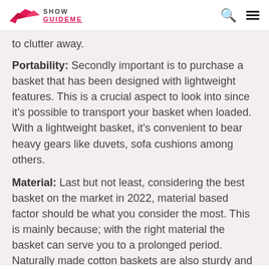Show GuideMe
to clutter away.
Portability: Secondly important is to purchase a basket that has been designed with lightweight features. This is a crucial aspect to look into since it's possible to transport your basket when loaded. With a lightweight basket, it's convenient to bear heavy gears like duvets, sofa cushions among others.
Material: Last but not least, considering the best basket on the market in 2022, material based factor should be what you consider the most. This is mainly because; with the right material the basket can serve you to a prolonged period. Naturally made cotton baskets are also sturdy and stable to stand of